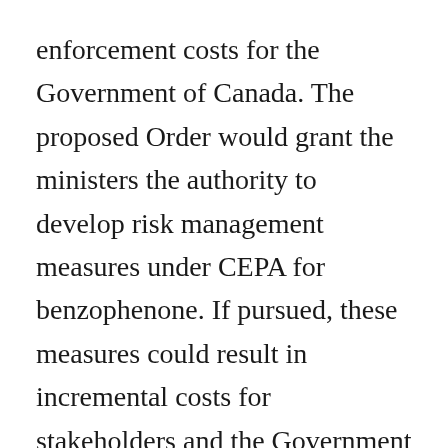enforcement costs for the Government of Canada. The proposed Order would grant the ministers the authority to develop risk management measures under CEPA for benzophenone. If pursued, these measures could result in incremental costs for stakeholders and the Government of Canada. In the event that the ministers propose risk management measures for benzophenone, the departments would assess their benefits and costs and would conduct consultations with stakeholders, the public, and other interested parties during the development of such measures